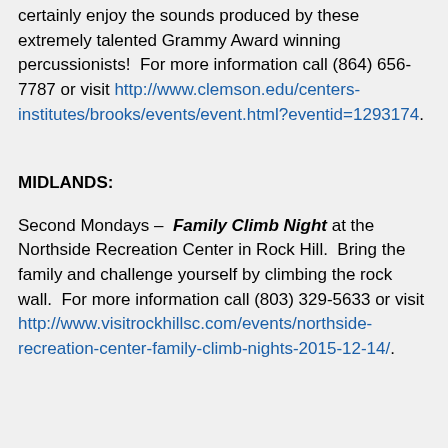certainly enjoy the sounds produced by these extremely talented Grammy Award winning percussionists!  For more information call (864) 656-7787 or visit http://www.clemson.edu/centers-institutes/brooks/events/event.html?eventid=1293174.
MIDLANDS:
Second Mondays – Family Climb Night at the Northside Recreation Center in Rock Hill.  Bring the family and challenge yourself by climbing the rock wall.  For more information call (803) 329-5633 or visit http://www.visitrockhillsc.com/events/northside-recreation-center-family-climb-nights-2015-12-14/.